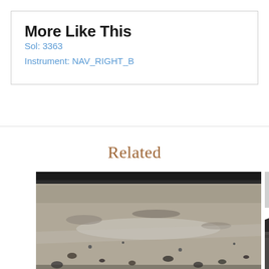More Like This
Sol: 3363
Instrument: NAV_RIGHT_B
Related
[Figure (photo): Black and white Mars surface photograph taken by NAV_RIGHT_B instrument on Sol 3363, showing rocky terrain with a dark horizon line and scattered rocks on sandy ground.]
[Figure (photo): Partial black and white Mars surface photograph showing terrain with dark rocky features, partially cropped on the right edge of the page.]